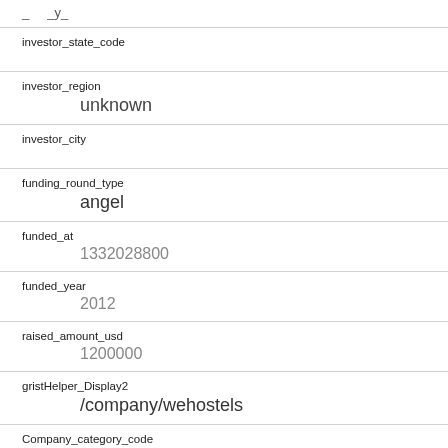_  _y_
investor_state_code
investor_region
unknown
investor_city
funding_round_type
angel
funded_at
1332028800
funded_year
2012
raised_amount_usd
1200000
gristHelper_Display2
/company/wehostels
Company_category_code
travel
Investor